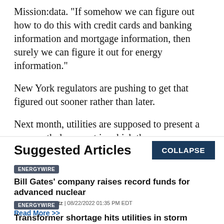Mission:data. "If somehow we can figure out how to do this with credit cards and banking information and mortgage information, then surely we can figure it out for energy information."
New York regulators are pushing to get that figured out sooner rather than later.
Next month, utilities are supposed to present a mammoth document in which they say more about how they'll share data between—
Suggested Articles
COLLAPSE
ENERGYWIRE
Bill Gates' company raises record funds for advanced nuclear
BY Kristi E. Swartz | 08/22/2022 01:35 PM EDT
Read More >>
ENERGYWIRE
Transformer shortage hits utilities in storm season